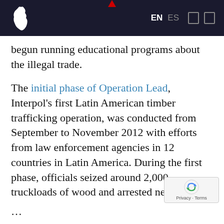EN ES
begun running educational programs about the illegal trade.
The initial phase of Operation Lead, Interpol's first Latin American timber trafficking operation, was conducted from September to November 2012 with efforts from law enforcement agencies in 12 countries in Latin America. During the first phase, officials seized around 2,000 truckloads of wood and arrested nearly 200 people.
InSight Crime Analysis